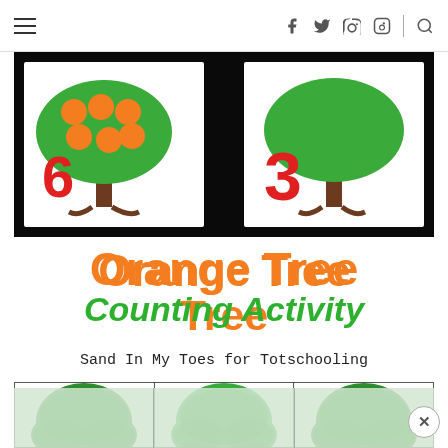navigation header with hamburger menu and social icons
[Figure (photo): Photo of orange tree counting activity cards showing trees with orange circles and red numbers 6 and 3 on white cards against dark background]
Orange Tree Counting Activity
Sand In My Toes for Totschooling
[Figure (illustration): Bottom grid showing three green tree canopy shapes in cells of a bordered grid, with light green shadow overlays at the bottom]